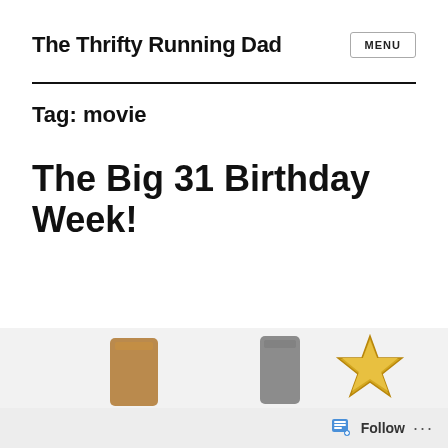The Thrifty Running Dad  MENU
Tag: movie
The Big 31 Birthday Week!
[Figure (photo): Partial view of birthday-themed decorations including glittery number figures and a gold star at the bottom of the page]
Follow ...